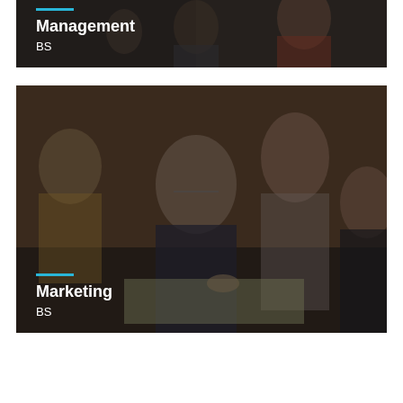[Figure (photo): Dark-tinted photo of business people in a meeting, with 'Management' and 'BS' text overlay on dark background with blue accent bar]
[Figure (photo): Dark-tinted photo of a group of people (professor and students) looking at documents together, with 'Marketing' and 'BS' text overlay on dark background with blue accent bar]